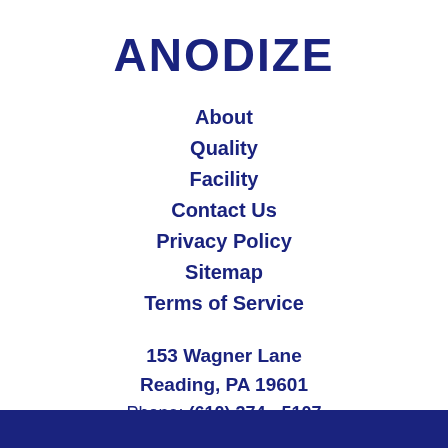ANODIZE
About
Quality
Facility
Contact Us
Privacy Policy
Sitemap
Terms of Service
153 Wagner Lane
Reading, PA 19601
Phone: (610) 374 - 5107
Email: info@usanodize.com